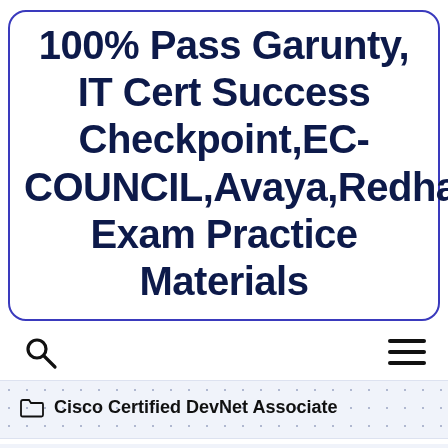100% Pass Garunty, IT Cert Success Checkpoint,EC-COUNCIL,Avaya,Redhat,Splunk Exam Practice Materials
[Figure (screenshot): Navigation bar with search icon (magnifying glass) on left and hamburger menu icon on right]
Cisco Certified DevNet Associate
200-901 DEVASC Exam: Use the updated Cisco 200...